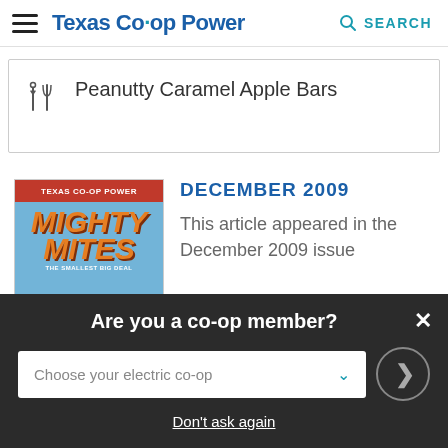Texas Co-op Power | SEARCH
Peanutty Caramel Apple Bars
[Figure (photo): Texas Co-op Power magazine cover for December 2009 featuring 'Mighty Mites' with group of people on a green field with orange bold text]
DECEMBER 2009
This article appeared in the December 2009 issue
Are you a co-op member?
Choose your electric co-op
Don't ask again